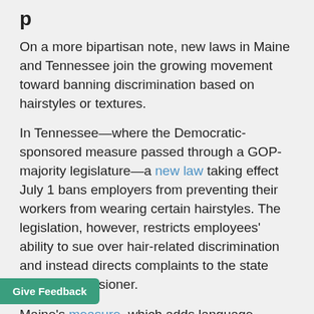p
On a more bipartisan note, new laws in Maine and Tennessee join the growing movement toward banning discrimination based on hairstyles or textures.
In Tennessee—where the Democratic-sponsored measure passed through a GOP-majority legislature—a new law taking effect July 1 bans employers from preventing their workers from wearing certain hairstyles. The legislation, however, restricts employees' ability to sue over hair-related discrimination and instead directs complaints to the state labor commissioner.
Maine's measure, which adds language covering hairstyles and textures to the state's existing ban on racial bias, takes effect Aug. 8.
Counting these new laws, 16 states and a few dozen ments have enacted the CROWN Act or